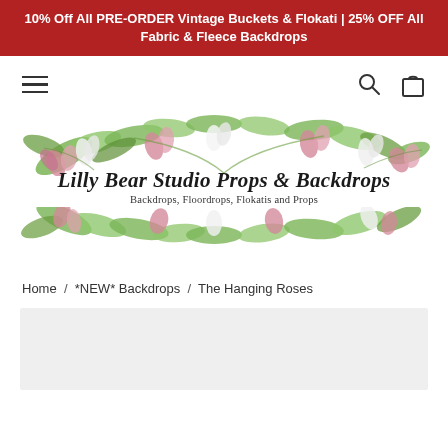10% Off All PRE-ORDER Vintage Buckets & Flokati | 25% OFF All Fabric & Fleece Backdrops
[Figure (logo): Lilly Bear Studio Props & Backdrops logo with floral watercolor border. Script text reads 'Lilly Bear Studio Props & Backdrops' with subtitle 'Backdrops, Floordrops, Flokatis and Props']
Home / *NEW* Backdrops / The Hanging Roses
[Figure (photo): Light grey product image placeholder area]